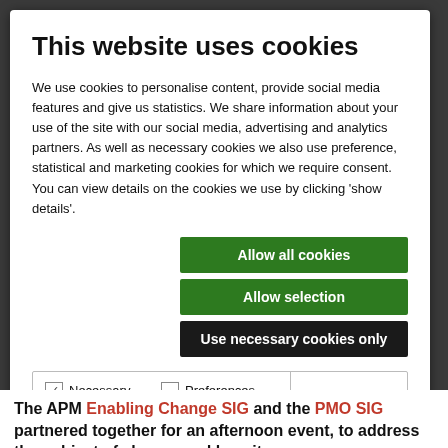This website uses cookies
We use cookies to personalise content, provide social media features and give us statistics. We share information about your use of the site with our social media, advertising and analytics partners. As well as necessary cookies we also use preference, statistical and marketing cookies for which we require consent.  You can view details on the cookies we use by clicking 'show details'.
Allow all cookies
Allow selection
Use necessary cookies only
Necessary  Preferences  Statistics  Marketing  Show details
The APM Enabling Change SIG and the PMO SIG partnered together for an afternoon event, to address the subject of change and how it can